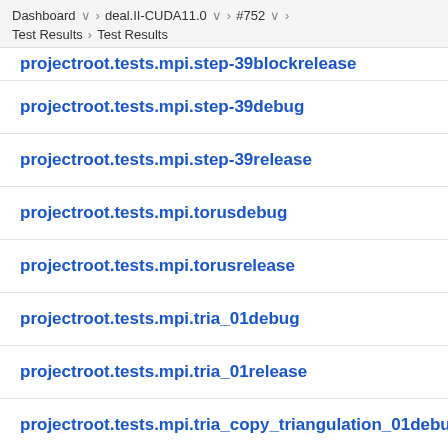Dashboard > deal.II-CUDA11.0 > #752 > Test Results > Test Results
projectroot.tests.mpi.step-39blockrelease
projectroot.tests.mpi.step-39debug
projectroot.tests.mpi.step-39release
projectroot.tests.mpi.torusdebug
projectroot.tests.mpi.torusrelease
projectroot.tests.mpi.tria_01debug
projectroot.tests.mpi.tria_01release
projectroot.tests.mpi.tria_copy_triangulation_01debug